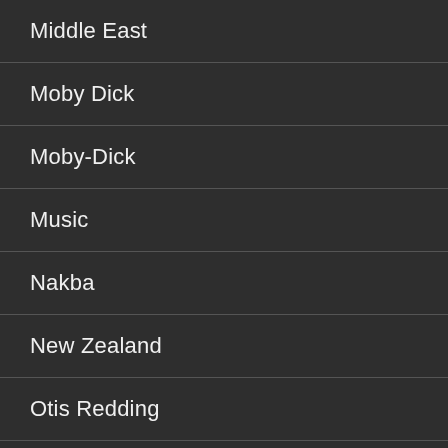Middle East
Moby Dick
Moby-Dick
Music
Nakba
New Zealand
Otis Redding
Ottomans
Pakistan
Palestine